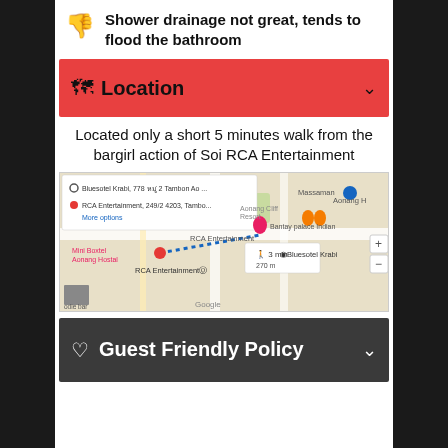Shower drainage not great, tends to flood the bathroom
Location
Located only a short 5 minutes walk from the bargirl action of Soi RCA Entertainment
[Figure (map): Google Maps showing route from Bluesotel Krabi to RCA Entertainment, 249/2 4203, with walking time 3 min, 270 m]
Guest Friendly Policy